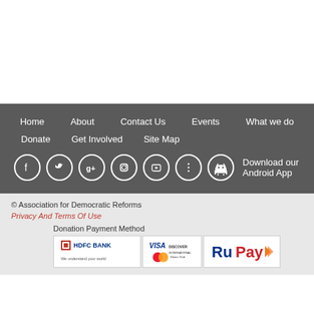Home
About
Contact Us
Events
What we do
Donate
Get Involved
Site Map
[Figure (logo): Social media icons: Facebook, Twitter, Google+, Instagram, YouTube, more options, Android app icon with text 'Download our Android App']
© Association for Democratic Reforms
Privacy And Terms Of Use
Donation Payment Method
[Figure (logo): Payment method logos: HDFC Bank, Visa/MasterCard/Discover/Diners Club, RuPay]